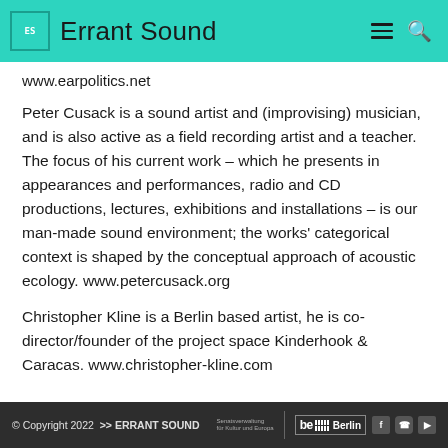Errant Sound
www.earpolitics.net
Peter Cusack is a sound artist and (improvising) musician, and is also active as a field recording artist and a teacher. The focus of his current work – which he presents in appearances and performances, radio and CD productions, lectures, exhibitions and installations – is our man-made sound environment; the works' categorical context is shaped by the conceptual approach of acoustic ecology. www.petercusack.org
Christopher Kline is a Berlin based artist, he is co-director/founder of the project space Kinderhook & Caracas. www.christopher-kline.com
© Copyright 2022 >> ERRANT SOUND